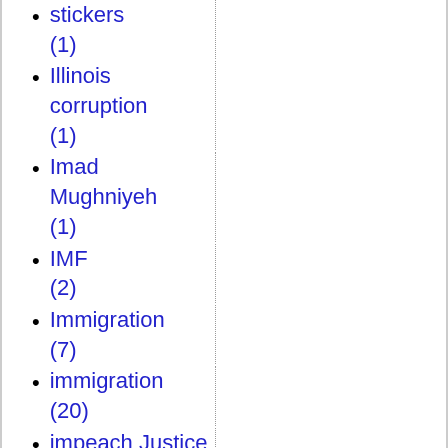stickers (1)
Illinois corruption (1)
Imad Mughniyeh (1)
IMF (2)
Immigration (7)
immigration (20)
impeach Justice Kennedy (1)
Imperial Presidency (1)
In Defense of Lost